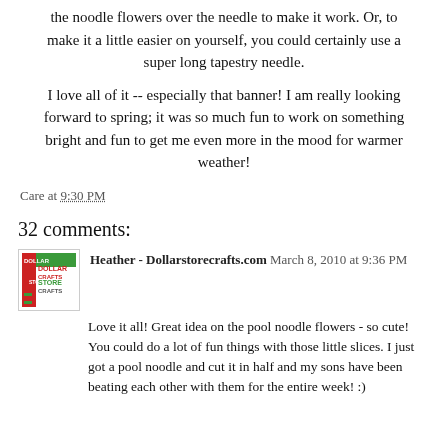the noodle flowers over the needle to make it work. Or, to make it a little easier on yourself, you could certainly use a super long tapestry needle.
I love all of it -- especially that banner! I am really looking forward to spring; it was so much fun to work on something bright and fun to get me even more in the mood for warmer weather!
Care at 9:30 PM
32 comments:
Heather - Dollarstorecrafts.com March 8, 2010 at 9:36 PM
Love it all! Great idea on the pool noodle flowers - so cute! You could do a lot of fun things with those little slices. I just got a pool noodle and cut it in half and my sons have been beating each other with them for the entire week! :)